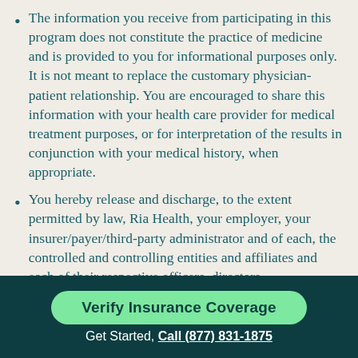The information you receive from participating in this program does not constitute the practice of medicine and is provided to you for informational purposes only. It is not meant to replace the customary physician-patient relationship. You are encouraged to share this information with your health care provider for medical treatment purposes, or for interpretation of the results in conjunction with your medical history, when appropriate.
You hereby release and discharge, to the extent permitted by law, Ria Health, your employer, your insurer/payer/third-party administrator and of each, the controlled and controlling entities and affiliates and each of their respective officers, directors,
Verify Insurance Coverage
Get Started, Call (877) 831-1875